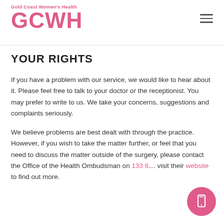Gold Coast Women's Health GCWH
YOUR RIGHTS
If you have a problem with our service, we would like to hear about it. Please feel free to talk to your doctor or the receptionist. You may prefer to write to us. We take your concerns, suggestions and complaints seriously.
We believe problems are best dealt with through the practice. However, if you wish to take the matter further, or feel that you need to discuss the matter outside of the surgery, please contact the Office of the Health Ombudsman on 133 6… visit their website to find out more.